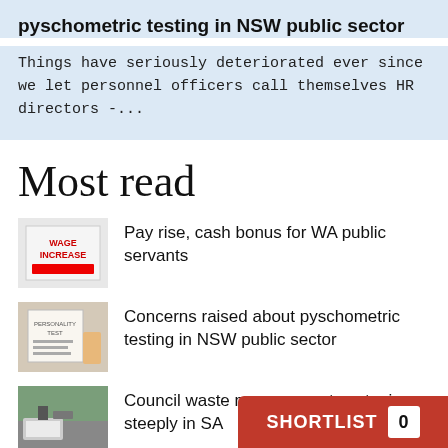pyschometric testing in NSW public sector
Things have seriously deteriorated ever since we let personnel officers call themselves HR directors -...
Most read
Pay rise, cash bonus for WA public servants
Concerns raised about pyschometric testing in NSW public sector
Council waste management costs rise steeply in SA
New research groundwo...